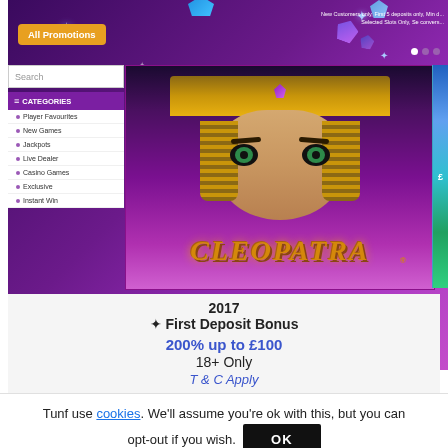[Figure (screenshot): Casino website screenshot showing purple gradient background with 'All Promotions' orange button, navigation with search bar and categories sidebar (Player Favourites, New Games, Jackpots, Live Dealer, Casino Games, Exclusive, Instant Win), and a large Cleopatra slot game banner with the title 'CLEOPATRA' in ornate gold lettering, small text in top right: 'New Customers only, First 5 deposits only, Min d... Selected Slots Only, Se convers...', three navigation dots top right, and decorative gems.]
2017
✦ First Deposit Bonus
200% up to £100
18+ Only
T & C Apply
Tunf use cookies. We'll assume you're ok with this, but you can opt-out if you wish.  OK